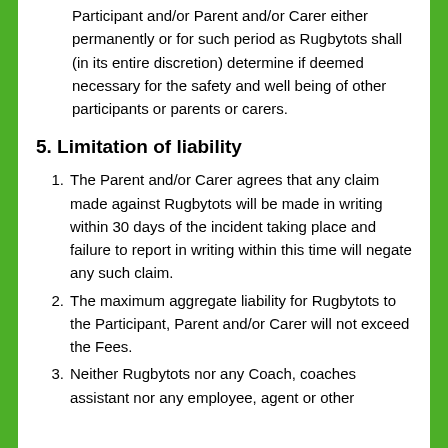Rugbytots shall have the sole right to exclude the Participant and/or Parent and/or Carer either permanently or for such period as Rugbytots shall (in its entire discretion) determine if deemed necessary for the safety and well being of other participants or parents or carers.
5. Limitation of liability
1. The Parent and/or Carer agrees that any claim made against Rugbytots will be made in writing within 30 days of the incident taking place and failure to report in writing within this time will negate any such claim.
2. The maximum aggregate liability for Rugbytots to the Participant, Parent and/or Carer will not exceed the Fees.
3. Neither Rugbytots nor any Coach, coaches assistant nor any employee, agent or other